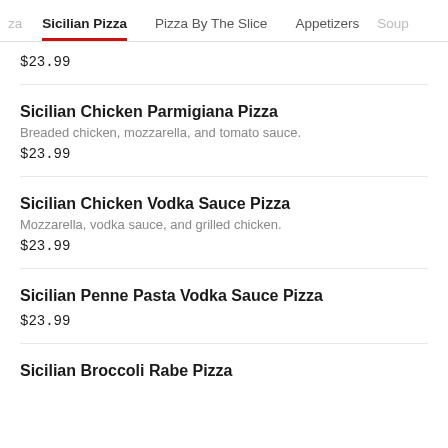za | Sicilian Pizza | Pizza By The Slice | Appetizers | Soup
$23.99
Sicilian Chicken Parmigiana Pizza
Breaded chicken, mozzarella, and tomato sauce.
$23.99
Sicilian Chicken Vodka Sauce Pizza
Mozzarella, vodka sauce, and grilled chicken.
$23.99
Sicilian Penne Pasta Vodka Sauce Pizza
$23.99
Sicilian Broccoli Rabe Pizza